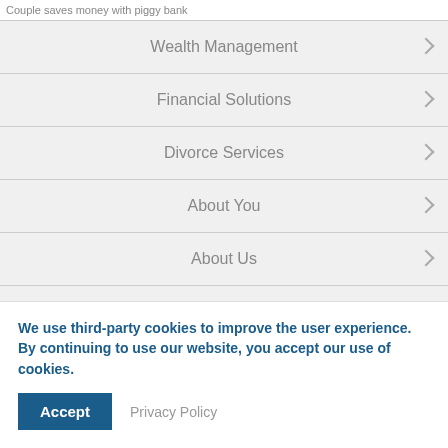Couple saves money with piggy bank
Wealth Management
Financial Solutions
Divorce Services
About You
About Us
FAQ
We use third-party cookies to improve the user experience. By continuing to use our website, you accept our use of cookies.
Accept
Privacy Policy